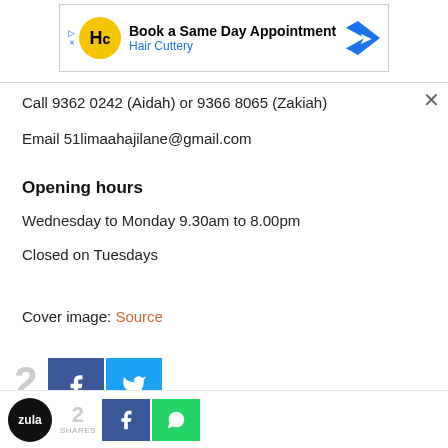[Figure (other): Advertisement banner for Hair Cuttery booking a same day appointment with HC logo and blue arrow icon]
Call 9362 0242 (Aidah) or 9366 8065 (Zakiah)
Email 51limaahajilane@gmail.com
Opening hours
Wednesday to Monday 9.30am to 8.00pm
Closed on Tuesdays
Cover image: Source
[Figure (other): Social share buttons showing 2 shares with Facebook and Twitter buttons]
[Figure (other): Bottom bar with Zula logo, 2 shares count, Facebook and WhatsApp share buttons]